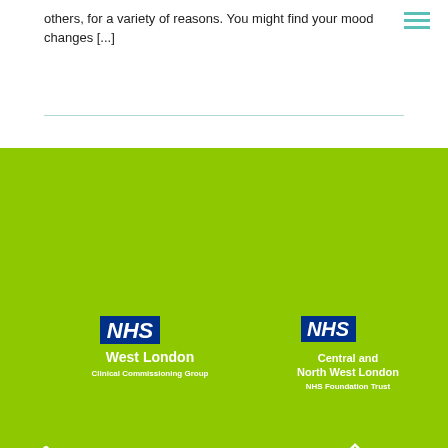others, for a variety of reasons. You might find your mood changes [...]
[Figure (logo): NHS West London Clinical Commissioning Group logo in white on green background]
[Figure (logo): NHS Central and North West London NHS Foundation Trust logo in white on green background]
[Figure (logo): Mind Kensington and Chelsea logo in white on green background]
[Figure (logo): Kensington and Chelsea diamond/square logo in white on green background]
[Figure (logo): SMART - St Mary Abbots Rehabilitation & Training logo in white on green background]